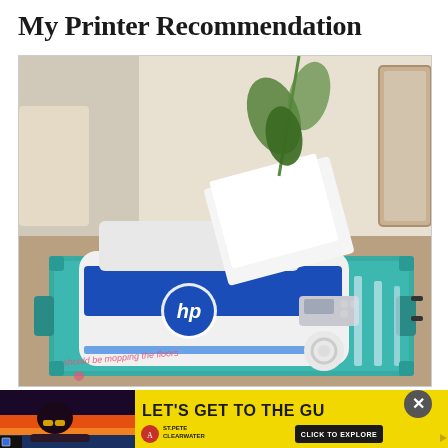My Printer Recommendation
[Figure (photo): HP DeskJet all-in-one printer in white and blue, sitting on a teal serving tray on a wooden surface, with plants and decorative items in the background. Watermark text reads 'I should be mopping the floors'.]
[Figure (infographic): Yellow advertisement banner for St. Pete Clearwater tourism. Left side shows woman in sunglasses by a pool at sunset. Text reads 'LET'S GET TO THE GU...' with St. Pete Clearwater logo and 'CLICK TO EXPLORE' button. Has close (X) button in dark circle.]